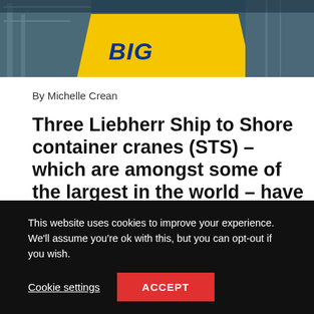[Figure (photo): Top portion of a photograph showing yellow crane equipment with blue text 'BIG' visible, against a dark teal/blue background, likely a ship-to-shore crane]
By Michelle Crean
Three Liebherr Ship to Shore container cranes (STS) – which are amongst some of the largest in the world – have left Killarney ahead of their American destination.
This website uses cookies to improve your experience. We'll assume you're ok with this, but you can opt-out if you wish.

Cookie settings   ACCEPT